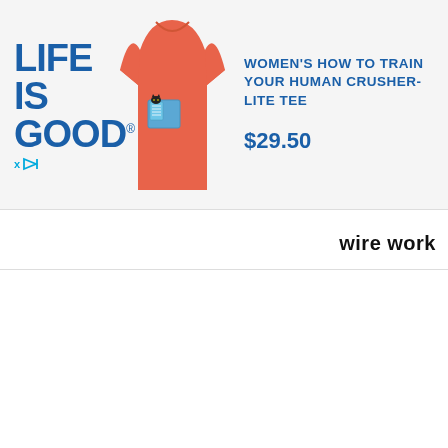[Figure (screenshot): Life is Good brand advertisement banner featuring a coral/salmon colored women's t-shirt with a cat reading a book pocket graphic, alongside product title and price]
WOMEN'S HOW TO TRAIN YOUR HUMAN CRUSHER-LITE TEE
$29.50
wire work